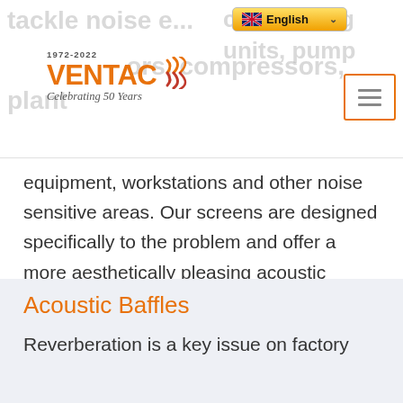tackle noise e... condensing units, pumps, generators, compressors, plant
[Figure (logo): Ventac logo with 1972-2022 Celebrating 50 Years text and orange sound wave graphic]
equipment, workstations and other noise sensitive areas. Our screens are designed specifically to the problem and offer a more aesthetically pleasing acoustic barrier within their applications.
Acoustic Baffles
Reverberation is a key issue on factory